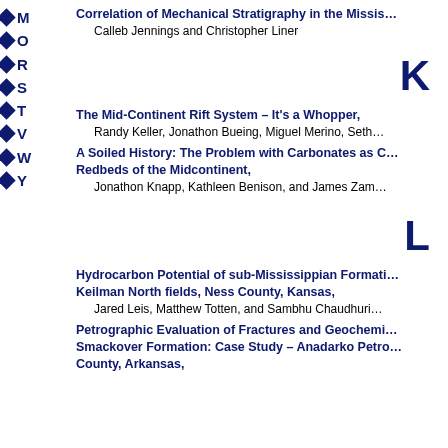M
O
R
S
T
V
W
Y
Correlation of Mechanical Stratigraphy in the Missis…
Calleb Jennings and Christopher Liner
K
The Mid-Continent Rift System – It's a Whopper,
Randy Keller, Jonathon Bueing, Miguel Merino, Seth…
A Soiled History: The Problem with Carbonates as C… Redbeds of the Midcontinent,
Jonathon Knapp, Kathleen Benison, and James Zam…
L
Hydrocarbon Potential of sub-Mississippian Formati… Keilman North fields, Ness County, Kansas,
Jared Leis, Matthew Totten, and Sambhu Chaudhuri…
Petrographic Evaluation of Fractures and Geochemi… Smackover Formation: Case Study – Anadarko Petro… County, Arkansas,